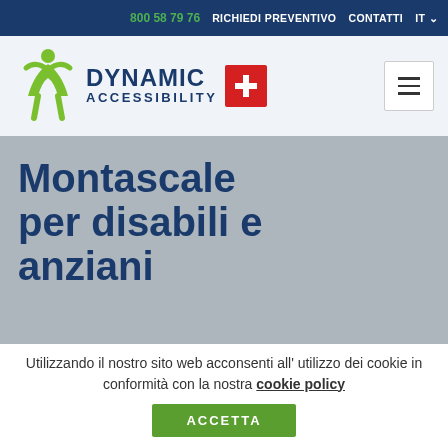800 58 79 76   RICHIEDI PREVENTIVO   CONTATTI   IT
[Figure (logo): Dynamic Accessibility logo with green figure icon, dark blue company name, and Swiss red cross badge]
Montascale per disabili e anziani
Utilizzando il nostro sito web acconsenti all' utilizzo dei cookie in conformità con la nostra cookie policy
ACCETTA